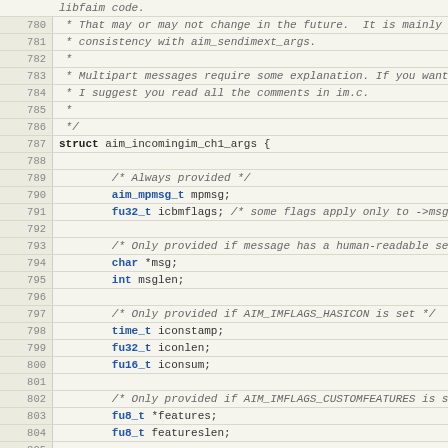Source code listing, lines 780-805, C struct definition for aim_incomingim_ch1_args
[Figure (screenshot): Code viewer showing C source code with line numbers 780-805, including comments and struct definition for aim_incomingim_ch1_args]